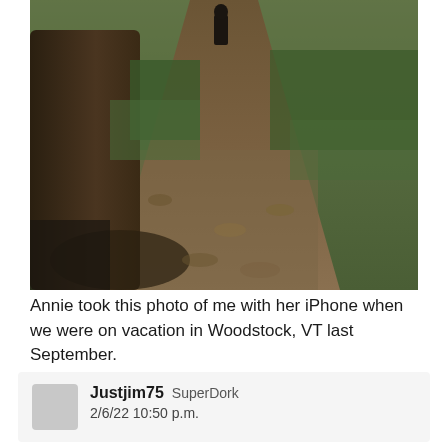[Figure (photo): A woodland trail with fallen leaves, a large tree trunk on the left, green ferns and foliage on both sides, and a person walking away in the distance along the dirt path.]
Annie took this photo of me with her iPhone when we were on vacation in Woodstock, VT last September.
Justjim75 SuperDork 2/6/22 10:50 p.m.